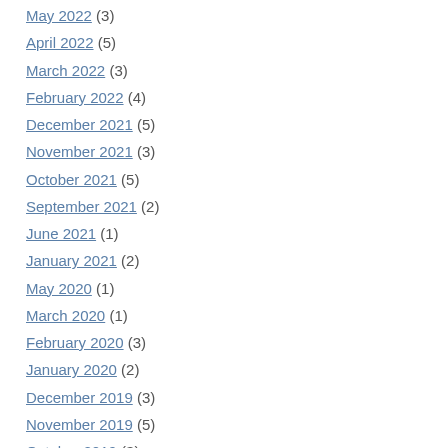May 2022 (3)
April 2022 (5)
March 2022 (3)
February 2022 (4)
December 2021 (5)
November 2021 (3)
October 2021 (5)
September 2021 (2)
June 2021 (1)
January 2021 (2)
May 2020 (1)
March 2020 (1)
February 2020 (3)
January 2020 (2)
December 2019 (3)
November 2019 (5)
October 2019 (3)
September 2019 (2)
August 2019 (2)